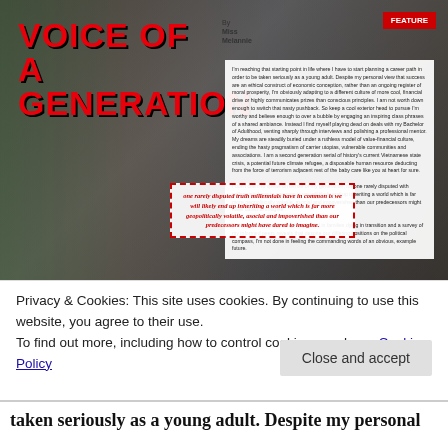[Figure (photo): Magazine article page titled 'VOICE OF A GENERATION' with a crowd protest photo background, article text overlay, and a pull quote box]
VOICE OF A GENERATION
By Miss Melannie
Feature
one rarely disputed truth millennials have in common is we will likely end up inheriting a world which is far more geopolitically volatile, asocial and impoverished than our predecessors might have dared to imagine.
Privacy & Cookies: This site uses cookies. By continuing to use this website, you agree to their use.
To find out more, including how to control cookies, see here: Cookie Policy
Close and accept
taken seriously as a young adult. Despite my personal